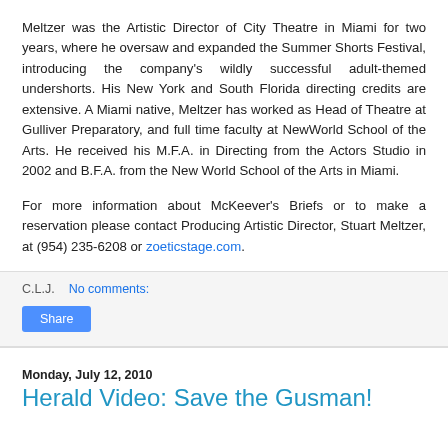Meltzer was the Artistic Director of City Theatre in Miami for two years, where he oversaw and expanded the Summer Shorts Festival, introducing the company's wildly successful adult-themed undershorts. His New York and South Florida directing credits are extensive. A Miami native, Meltzer has worked as Head of Theatre at Gulliver Preparatory, and full time faculty at NewWorld School of the Arts. He received his M.F.A. in Directing from the Actors Studio in 2002 and B.F.A. from the New World School of the Arts in Miami.
For more information about McKeever's Briefs or to make a reservation please contact Producing Artistic Director, Stuart Meltzer, at (954) 235-6208 or zoeticstage.com.
C.L.J.    No comments:
Share
Monday, July 12, 2010
Herald Video: Save the Gusman!